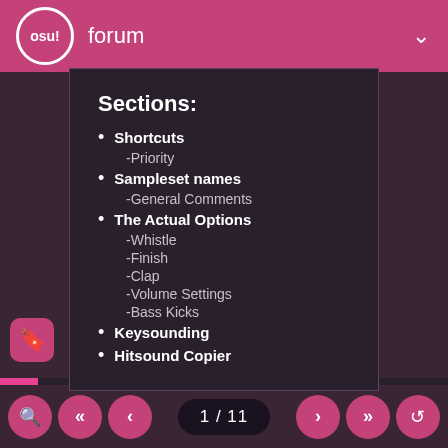osu! forum
Sections:
Shortcuts
-Priority
Sampleset names
-General Comments
The Actual Options
-Whistle
-Finish
-Clap
-Volume Settings
-Bass Kicks
Keysounding
Hitsound Copier
1 / 11